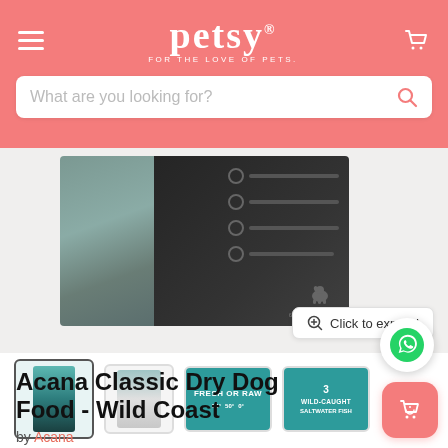petsy — FOR THE LOVE OF PETS — Search bar: What are you looking for?
[Figure (photo): Acana Wild Coast dry dog food dark box packaging with scenic coastal background, partially cropped at the top. A 'Click to expand' button appears bottom right.]
[Figure (photo): Four product thumbnails: 1) Acana Wild Coast front bag, 2) Acana Wild Coast back/side bag, 3) Teal infographic showing 'Fresh or Raw 50%/50%/0%', 4) Teal infographic '3 Wild-Caught Saltwater Fish']
Acana Classic Dry Dog Food - Wild Coast
by Acana